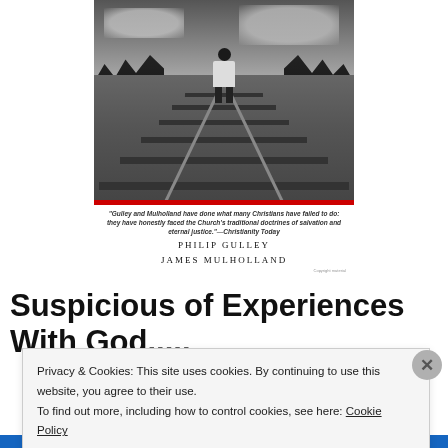[Figure (photo): Book cover showing a child standing on railroad tracks viewed from behind, dark dramatic sky and trees in background, with a red stripe at the bottom. Authors: Philip Gulley and James Mulholland.]
"Gulley and Mulholland have done what many Christians have failed to do: they have honestly faced the Church's traditional doctrines of salvation and eternal justice."—Christianity Today
PHILIP GULLEY
JAMES MULHOLLAND
Suspicious of Experiences With God.....
Privacy & Cookies: This site uses cookies. By continuing to use this website, you agree to their use.
To find out more, including how to control cookies, see here: Cookie Policy
Close and accept